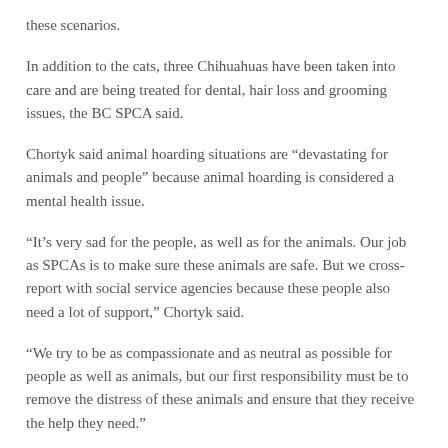these scenarios.
In addition to the cats, three Chihuahuas have been taken into care and are being treated for dental, hair loss and grooming issues, the BC SPCA said.
Chortyk said animal hoarding situations are “devastating for animals and people” because animal hoarding is considered a mental health issue.
“It’s very sad for the people, as well as for the animals. Our job as SPCAs is to make sure these animals are safe. But we cross-report with social service agencies because these people also need a lot of support,” Chortyk said.
“We try to be as compassionate and as neutral as possible for people as well as animals, but our first responsibility must be to remove the distress of these animals and ensure that they receive the help they need.”